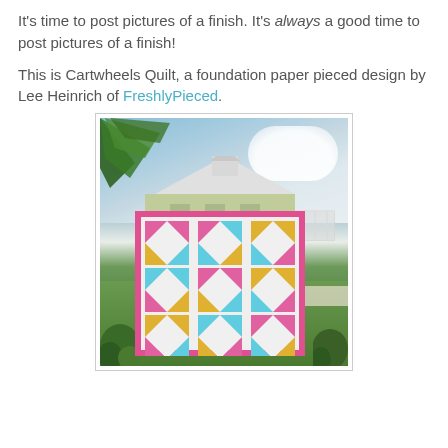It's time to post pictures of a finish. It's always a good time to post pictures of a finish!
This is Cartwheels Quilt, a foundation paper pieced design by Lee Heinrich of FreshlyPieced.
[Figure (photo): Outdoor photo of a colorful quilt being held up, showing a pinwheel/cartwheel pattern in pink, turquoise/aqua, and yellow on a white background. Behind the quilt is a green building with white roof and pergola, palm trees, blue sky with clouds, and green lawn.]